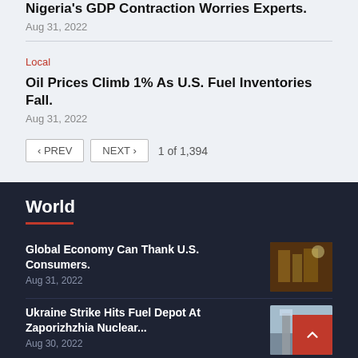Nigeria's GDP Contraction Worries Experts.
Aug 31, 2022
Local
Oil Prices Climb 1% As U.S. Fuel Inventories Fall.
Aug 31, 2022
< PREV   NEXT >   1 of 1,394
World
Global Economy Can Thank U.S. Consumers.
Aug 31, 2022
[Figure (photo): Grocery store interior with shoppers]
Ukraine Strike Hits Fuel Depot At Zaporizhzhia Nuclear...
Aug 30, 2022
[Figure (photo): Nuclear plant with cooling towers in misty conditions]